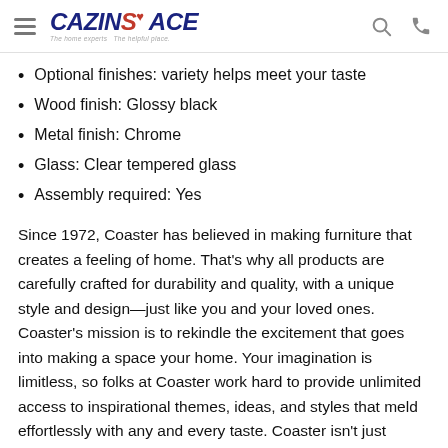Cazin's ACE — navigation header with logo, search, and phone icons
Optional finishes: variety helps meet your taste
Wood finish: Glossy black
Metal finish: Chrome
Glass: Clear tempered glass
Assembly required: Yes
Since 1972, Coaster has believed in making furniture that creates a feeling of home. That's why all products are carefully crafted for durability and quality, with a unique style and design—just like you and your loved ones. Coaster's mission is to rekindle the excitement that goes into making a space your home. Your imagination is limitless, so folks at Coaster work hard to provide unlimited access to inspirational themes, ideas, and styles that meld effortlessly with any and every taste. Coaster isn't just furniture; it's a part of your family.